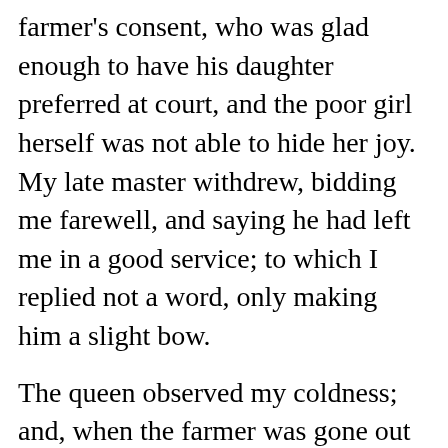farmer’s consent, who was glad enough to have his daughter preferred at court, and the poor girl herself was not able to hide her joy.  My late master withdrew, bidding me farewell, and saying he had left me in a good service; to which I replied not a word, only making him a slight bow.
The queen observed my coldness; and, when the farmer was gone out of the apartment, asked me the reason.  I made bold to tell her majesty, “that I owed no other obligation to my late master, than his not dashing out the brains of a poor harmless creature, found by chance in his fields: which obligation was amply recompensed, by the gain he had made in